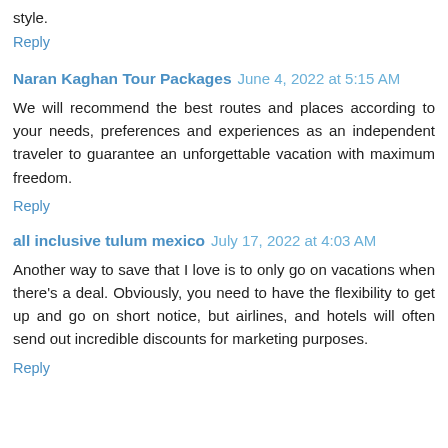style.
Reply
Naran Kaghan Tour Packages  June 4, 2022 at 5:15 AM
We will recommend the best routes and places according to your needs, preferences and experiences as an independent traveler to guarantee an unforgettable vacation with maximum freedom.
Reply
all inclusive tulum mexico  July 17, 2022 at 4:03 AM
Another way to save that I love is to only go on vacations when there's a deal. Obviously, you need to have the flexibility to get up and go on short notice, but airlines, and hotels will often send out incredible discounts for marketing purposes.
Reply